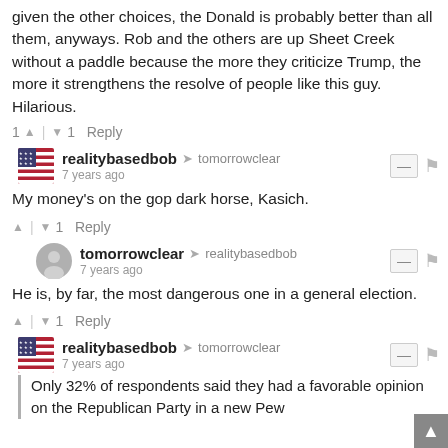given the other choices, the Donald is probably better than all them, anyways. Rob and the others are up Sheet Creek without a paddle because the more they criticize Trump, the more it strengthens the resolve of people like this guy. Hilarious.
1 ↑ | ↓ 1 Reply
realitybasedbob → tomorrowclear
7 years ago
My money's on the gop dark horse, Kasich.
↑ | ↓ 1 Reply
tomorrowclear → realitybasedbob
7 years ago
He is, by far, the most dangerous one in a general election.
↑ | ↓ 1 Reply
realitybasedbob → tomorrowclear
7 years ago
Only 32% of respondents said they had a favorable opinion on the Republican Party in a new Pew